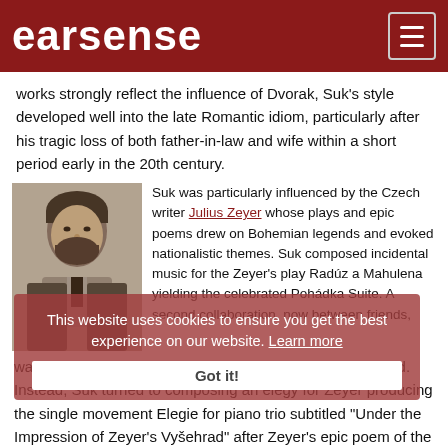earsense
works strongly reflect the influence of Dvorak, Suk's style developed well into the late Romantic idiom, particularly after his tragic loss of both father-in-law and wife within a short period early in the 20th century.
[Figure (photo): Black and white portrait photograph of a bearded man, presumably Josef Suk, in formal 19th-century attire.]
Suk was particularly influenced by the Czech writer Julius Zeyer whose plays and epic poems drew on Bohemian legends and evoked nationalistic themes. Suk composed incidental music for the Zeyer's play Radúz a Mahulena yielding the celebrated Pohádka Suite. A second collaboration, now between friends, was planned but Zeyer died before the project was finished. Instead, Suk turned to composing an elegy for Zeyer producing the single movement Elegie for piano trio subtitled "Under the Impression of Zeyer's Vyšehrad" after Zeyer's epic poem of the same name. Zeyer's
This website uses cookies to ensure you get the best experience on our website. Learn more
Got it!